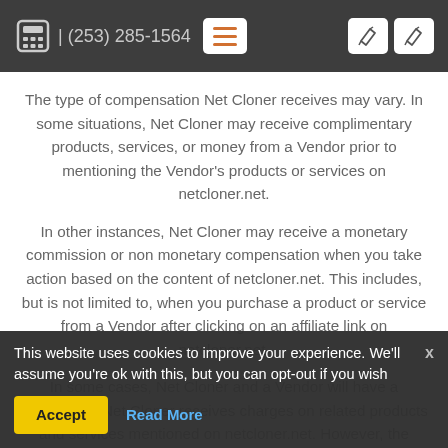| (253) 285-1564
The type of compensation Net Cloner receives may vary. In some situations, Net Cloner may receive complimentary products, services, or money from a Vendor prior to mentioning the Vendor's products or services on netcloner.net.
In other instances, Net Cloner may receive a monetary commission or non monetary compensation when you take action based on the content of netcloner.net. This includes, but is not limited to, when you purchase a product or service from a Vendor after clicking on an affiliate link on netcloner.net.
In some cases, Net Cloner and a Vendor will have a business or ... Net Cloner receives charges on related products and services mentioned on netcloner.net. However, the nature of the ... could be seen as sufficient to establish a ...
This website uses cookies to improve your experience. We'll assume you're ok with this, but you can opt-out if you wish